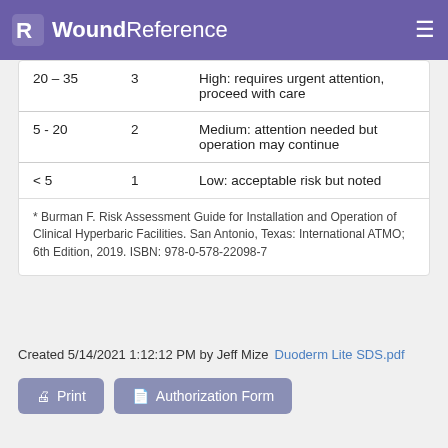WoundReference
| 20 – 35 | 3 | High: requires urgent attention, proceed with care |
| 5 - 20 | 2 | Medium: attention needed but operation may continue |
| < 5 | 1 | Low: acceptable risk but noted |
* Burman F. Risk Assessment Guide for Installation and Operation of Clinical Hyperbaric Facilities. San Antonio, Texas: International ATMO; 6th Edition, 2019. ISBN: 978-0-578-22098-7
Created 5/14/2021 1:12:12 PM by Jeff Mize    Duoderm Lite SDS.pdf